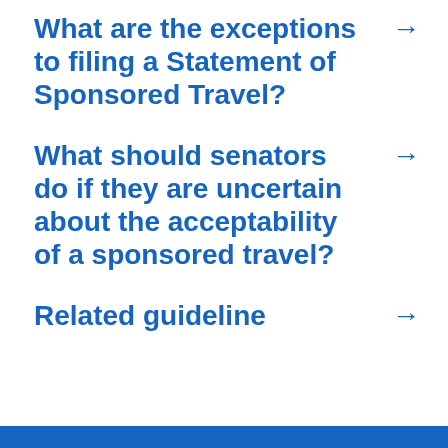What are the exceptions to filing a Statement of Sponsored Travel? →
What should senators do if they are uncertain about the acceptability of a sponsored travel? →
Related guideline →